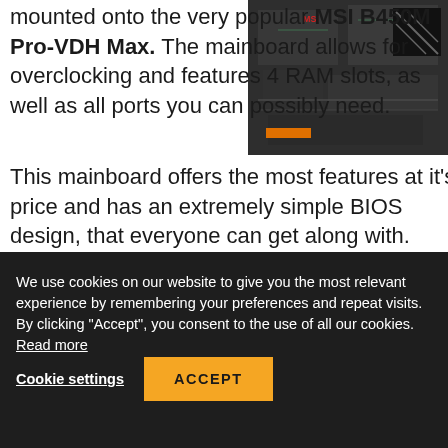mounted onto the very popular MSI B450M Pro-VDH Max. The mainboard allows for overclocking and features 4 RAM slots, as well as all ports you can possibly need.
[Figure (photo): MSI B450M Pro-VDH Max motherboard product photo with dark background and orange accents]
This mainboard offers the most features at it's price and has an extremely simple BIOS design, that everyone can get along with.
GPU
We use cookies on our website to give you the most relevant experience by remembering your preferences and repeat visits. By clicking "Accept", you consent to the use of all our cookies. Read more